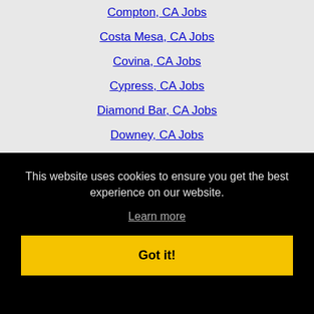Compton, CA Jobs
Costa Mesa, CA Jobs
Covina, CA Jobs
Cypress, CA Jobs
Diamond Bar, CA Jobs
Downey, CA Jobs
East Los Angeles, CA Jobs
El Monte, CA Jobs
Encinitas, CA Jobs
Escondido, CA Jobs
This website uses cookies to ensure you get the best experience on our website.
Learn more
Got it!
Hacienda Heights, CA Jobs